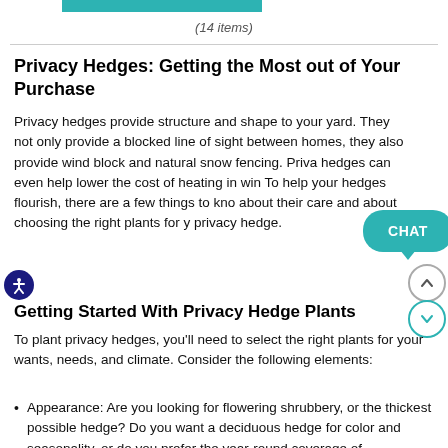(14 items)
Privacy Hedges: Getting the Most out of Your Purchase
Privacy hedges provide structure and shape to your yard. They not only provide a blocked line of sight between homes, they also provide wind block and natural snow fencing. Privacy hedges can even help lower the cost of heating in winter. To help your hedges flourish, there are a few things to know about their care and about choosing the right plants for your privacy hedge.
Getting Started With Privacy Hedge Plants
To plant privacy hedges, you'll need to select the right plants for your wants, needs, and climate. Consider the following elements:
Appearance: Are you looking for flowering shrubbery, or the thickest possible hedge? Do you want a deciduous hedge for color and seasonality, or do you prefer the year-round coverage of evergreens? Some beautiful designs can be created by mixing species in a hedge,